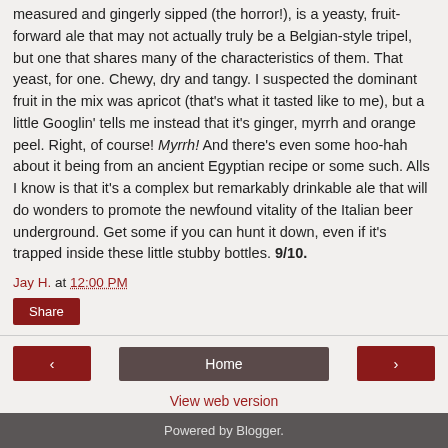NSRA, served in a bottle so small that our enjoyment of it had to gently measured and gingerly sipped (the horror!), is a yeasty, fruit-forward ale that may not actually truly be a Belgian-style tripel, but one that shares many of the characteristics of them. That yeast, for one. Chewy, dry and tangy. I suspected the dominant fruit in the mix was apricot (that's what it tasted like to me), but a little Googlin' tells me instead that it's ginger, myrrh and orange peel. Right, of course! Myrrh! And there's even some hoo-hah about it being from an ancient Egyptian recipe or some such. Alls I know is that it's a complex but remarkably drinkable ale that will do wonders to promote the newfound vitality of the Italian beer underground. Get some if you can hunt it down, even if it's trapped inside these little stubby bottles. 9/10.
Jay H. at 12:00 PM
Share
Home
View web version
Powered by Blogger.